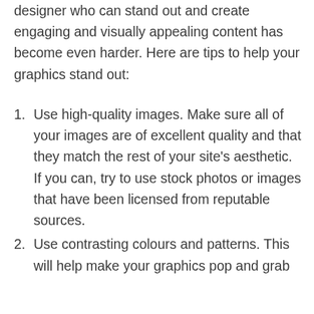designer who can stand out and create engaging and visually appealing content has become even harder. Here are tips to help your graphics stand out:
Use high-quality images. Make sure all of your images are of excellent quality and that they match the rest of your site's aesthetic. If you can, try to use stock photos or images that have been licensed from reputable sources.
Use contrasting colours and patterns. This will help make your graphics pop and grab